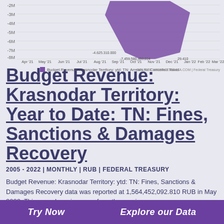[Figure (line-chart): Budget Revenue: Krasnodar Territory: ytd: TN: Arrears for Cancelled Taxes]
Budget Revenue: Krasnodar Territory: Year to Date: TN: Fines, Sanctions & Damages Recovery
2005 - 2022 | MONTHLY | RUB | FEDERAL TREASURY
Budget Revenue: Krasnodar Territory: ytd: TN: Fines, Sanctions & Damages Recovery data was reported at 1,564,452,092.810 RUB in May 2022. This records an increase from the previous
Try Now    Explore our Data